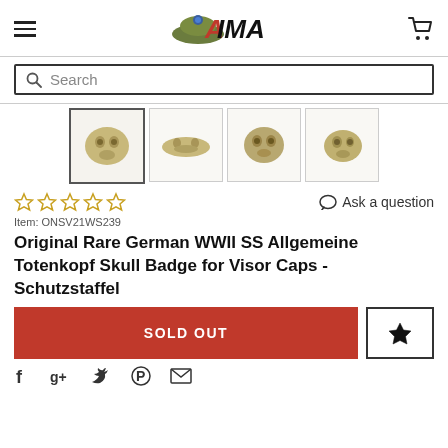IMA — International Military Antiques website header with hamburger menu, logo, and cart icon
[Figure (screenshot): Search bar with magnifying glass icon and placeholder text 'Search']
[Figure (photo): Four thumbnail images of a German WWII SS Allgemeine Totenkopf Skull Badge, shown from different angles, gold/brass colored]
☆☆☆☆☆   Ask a question
Item: ONSV21WS239
Original Rare German WWII SS Allgemeine Totenkopf Skull Badge for Visor Caps - Schutzstaffel
SOLD OUT
Social share icons: Facebook, Google+, Twitter, Pinterest, Email